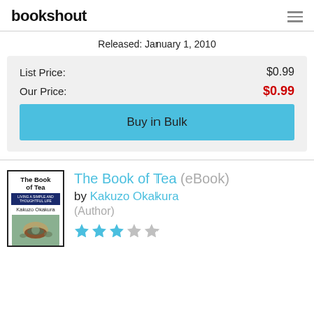bookshout
Released: January 1, 2010
| List Price: | $0.99 |
| Our Price: | $0.99 |
Buy in Bulk
The Book of Tea (eBook) by Kakuzo Okakura (Author)
[Figure (illustration): Book cover of The Book of Tea by Kakuzo Okakura showing the title, author name, and an image of a tea cup with leaves]